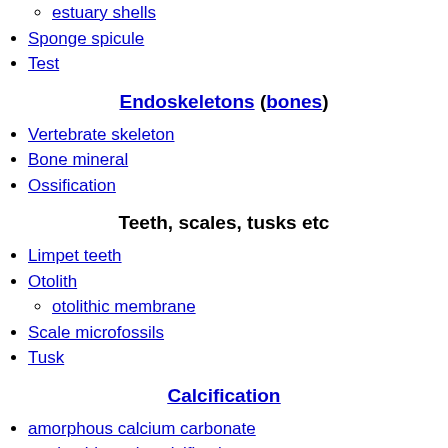estuary shells
Sponge spicule
Test
Endoskeletons (bones)
Vertebrate skeleton
Bone mineral
Ossification
Teeth, scales, tusks etc
Limpet teeth
Otolith
otolithic membrane
Scale microfossils
Tusk
Calcification
amorphous calcium carbonate
marine biogenic calcification
Aragonite
oolitic aragonite sand